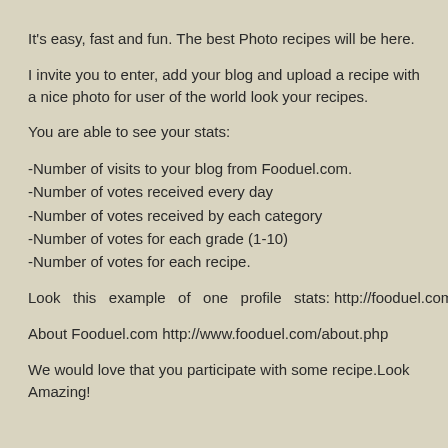It's easy, fast and fun. The best Photo recipes will be here.
I invite you to enter, add your blog and upload a recipe with a nice photo for user of the world look your recipes.
You are able to see your stats:
-Number of visits to your blog from Fooduel.com.
-Number of votes received every day
-Number of votes received by each category
-Number of votes for each grade (1-10)
-Number of votes for each recipe.
Look this example of one profile stats: http://fooduel.com/stats1.png
About Fooduel.com http://www.fooduel.com/about.php
We would love that you participate with some recipe.Look Amazing!